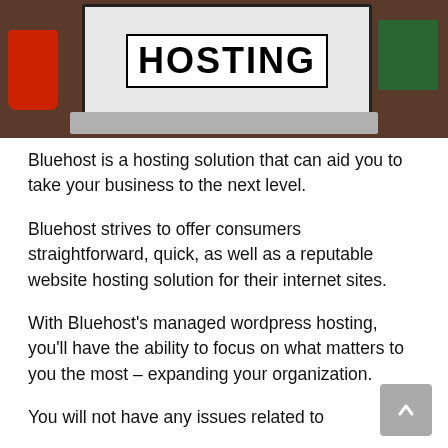[Figure (photo): Photo of a laptop displaying the word HOSTING on its screen, with a red cup on the left and green books on the right, on a dark wooden desk.]
Bluehost is a hosting solution that can aid you to take your business to the next level.
Bluehost strives to offer consumers straightforward, quick, as well as a reputable website hosting solution for their internet sites.
With Bluehost's managed wordpress hosting, you'll have the ability to focus on what matters to you the most – expanding your organization.
You will not have any issues related to